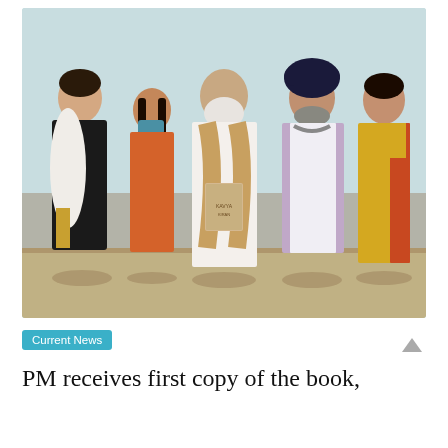[Figure (photo): Five people standing together in an indoor setting. From left to right: a woman in a black and white saree, a young girl in orange attire wearing a face mask with long braids, a man in white kurta with a beige/orange stole holding a book, a man in a lavender Nehru jacket, and a woman in a yellow and orange saree. The central figure appears to be PM Modi holding a book.]
Current News
PM receives first copy of the book,